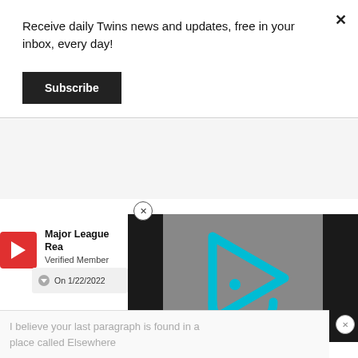Receive daily Twins news and updates, free in your inbox, every day!
Subscribe
Major League Rea
Verified Member
Posted January 22
[Figure (other): Video player with cyan/teal play button logo on gray background, flanked by black bars on left and right.]
On 1/22/2022
I believe your last paragraph is found in a place called Elsewhere